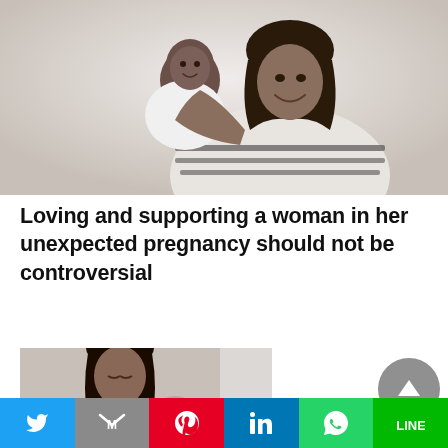[Figure (photo): A woman in a striped shirt smiling and holding a baby/toddler who is wearing white, against a light gray background]
Loving and supporting a woman in her unexpected pregnancy should not be controversial
[Figure (photo): A woman with dark hair looking down at a baby, partial view]
Twitter | Gmail | Pinterest | LinkedIn | WhatsApp | LINE social share bar